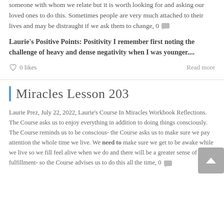someone with whom we relate but it is worth looking for and asking our loved ones to do this. Sometimes people are very much attached to their lives and may be distraught if we ask them to change, 0
Laurie's Positive Points: Positivity  I remember first noting the challenge of heavy and dense negativity when I was younger....
0 likes
Read more
Miracles Lesson 203
Laurie Prez, July 22, 2022, Laurie's Course In Miracles Workbook Reflections. The Course asks us to enjoy everything in addition to doing things consciously. The Course reminds us to be conscious- the Course asks us to make sure we pay attention the whole time we live. We need to make sure we get to be awake while we live so we fill feel alive when we do and there will be a greater sense of fulfillment- so the Course advises us to do this all the time, 0